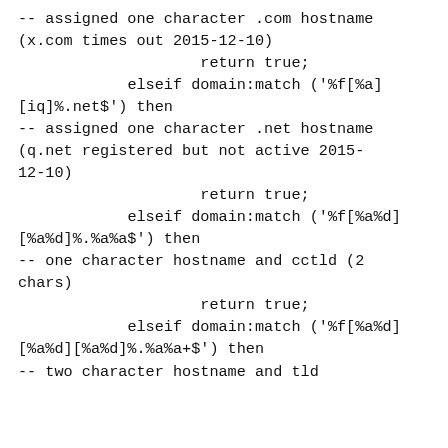-- assigned one character .com hostname (x.com times out 2015-12-10)
                    return true;
            elseif domain:match ('%f[%a][iq]%.net$') then
-- assigned one character .net hostname (q.net registered but not active 2015-12-10)
                    return true;
            elseif domain:match ('%f[%a%d][%a%d]%.%a%a$') then
-- one character hostname and cctld (2 chars)
                    return true;
            elseif domain:match ('%f[%a%d][%a%d][%a%d]%.%a%a+$') then
-- two character hostname and tld